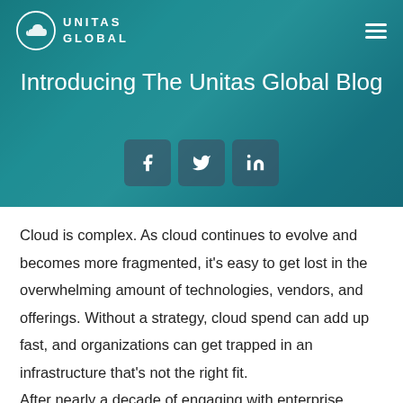Unitas Global
Introducing The Unitas Global Blog
[Figure (infographic): Social share buttons: Facebook, Twitter, LinkedIn]
Cloud is complex. As cloud continues to evolve and becomes more fragmented, it's easy to get lost in the overwhelming amount of technologies, vendors, and offerings. Without a strategy, cloud spend can add up fast, and organizations can get trapped in an infrastructure that's not the right fit. After nearly a decade of engaging with enterprise companies to build cloud solutions, we are intimate with